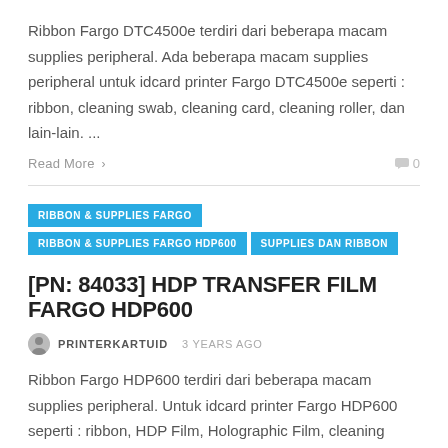Ribbon Fargo DTC4500e terdiri dari beberapa macam supplies peripheral. Ada beberapa macam supplies peripheral untuk idcard printer Fargo DTC4500e seperti : ribbon, cleaning swab, cleaning card, cleaning roller, dan lain-lain. ...
Read More >
0
RIBBON & SUPPLIES FARGO
RIBBON & SUPPLIES FARGO HDP600
SUPPLIES DAN RIBBON
[PN: 84033] HDP TRANSFER FILM FARGO HDP600
PRINTERKARTUID  3 YEARS AGO
Ribbon Fargo HDP600 terdiri dari beberapa macam supplies peripheral. Untuk idcard printer Fargo HDP600 seperti : ribbon, HDP Film, Holographic Film, cleaning swab, cleaning